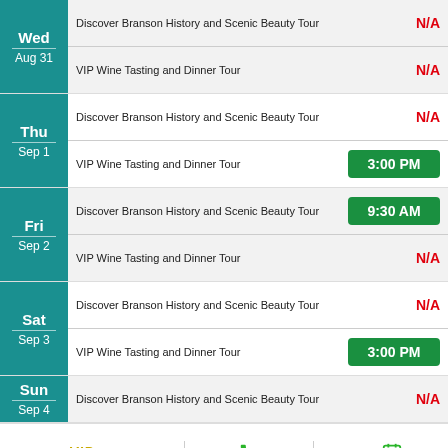| Day | Tour | Time |
| --- | --- | --- |
| Wed Aug 31 | Discover Branson History and Scenic Beauty Tour | N/A |
| Wed Aug 31 | VIP Wine Tasting and Dinner Tour | N/A |
| Thu Sep 1 | Discover Branson History and Scenic Beauty Tour | N/A |
| Thu Sep 1 | VIP Wine Tasting and Dinner Tour | 3:00 PM |
| Fri Sep 2 | Discover Branson History and Scenic Beauty Tour | 9:30 AM |
| Fri Sep 2 | VIP Wine Tasting and Dinner Tour | N/A |
| Sat Sep 3 | Discover Branson History and Scenic Beauty Tour | N/A |
| Sat Sep 3 | VIP Wine Tasting and Dinner Tour | 3:00 PM |
| Sun Sep 4 | Discover Branson History and Scenic Beauty Tour | N/A |
VIP TOURS OF BRANSON · DISCOVER BRANSON TOUR | CALL | SCHEDULE